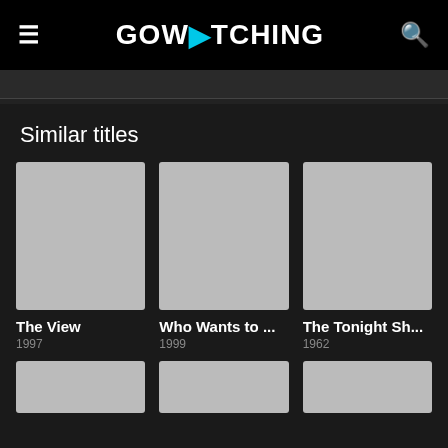GOWATCHING
Similar titles
[Figure (other): Movie/show card thumbnail placeholder (grey rectangle) for The View]
The View
1997
[Figure (other): Movie/show card thumbnail placeholder (grey rectangle) for Who Wants to ...]
Who Wants to ...
1999
[Figure (other): Movie/show card thumbnail placeholder (grey rectangle) for The Tonight Sh...]
The Tonight Sh...
1962